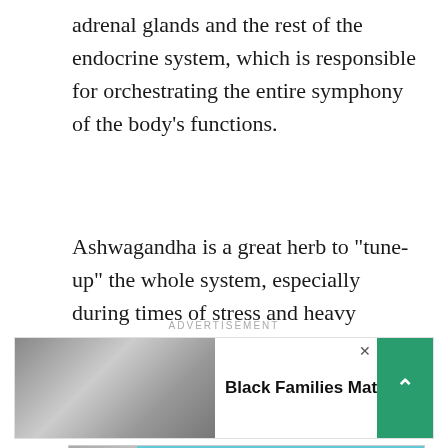adrenal glands and the rest of the endocrine system, which is responsible for orchestrating the entire symphony of the body’s functions.
Ashwagandha is a great herb to “tune-up” the whole system, especially during times of stress and heavy workloads.
ADVERTISEMENT
[Figure (photo): Advertisement banner showing Black Families Matter with a photo of a family and a green scroll-up button]
[Figure (photo): Advertisement banner for Dave Thomas Foundation for Adoption with quote 'I moved a bunch. I didn't want to move that much.' featuring a young man photo, red logo, and Wondermedia branding]